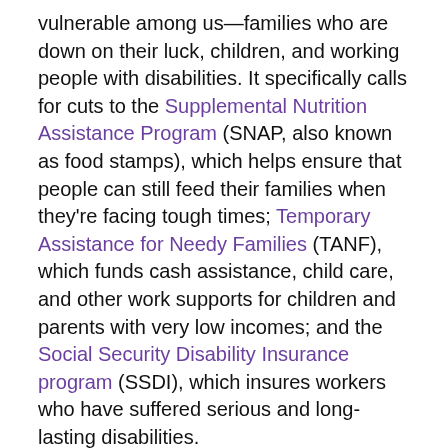vulnerable among us—families who are down on their luck, children, and working people with disabilities. It specifically calls for cuts to the Supplemental Nutrition Assistance Program (SNAP, also known as food stamps), which helps ensure that people can still feed their families when they're facing tough times; Temporary Assistance for Needy Families (TANF), which funds cash assistance, child care, and other work supports for children and parents with very low incomes; and the Social Security Disability Insurance program (SSDI), which insures workers who have suffered serious and long-lasting disabilities.
While the budget does not specify all of the programs to be cut, or by how much, many others